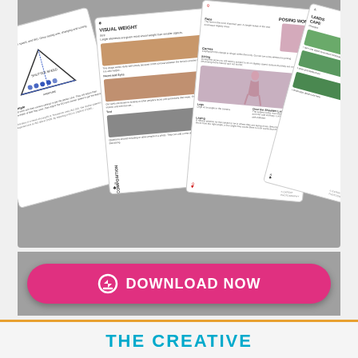[Figure (illustration): Fan of photography cheat sheet cards displayed on grey background. Cards show: 1) Exposure Triangle/Aperture card with triangle diagram and camera settings, 2) Visual Weight composition card with sample photos, 3) Posing Women card with illustrated female poses, 4) Landscape photography card with green landscape images.]
[Figure (infographic): Pink/magenta rounded rectangle download button with circle arrow-down icon and text 'DOWNLOAD NOW' in white bold letters on grey background.]
THE CREATIVE